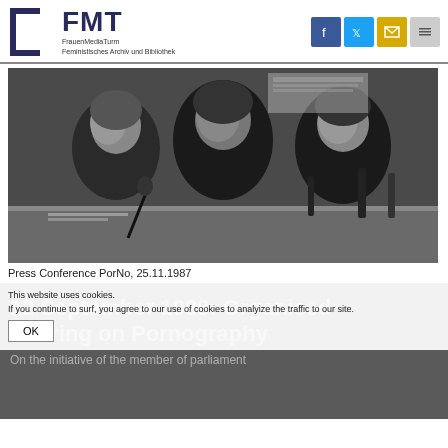[Figure (logo): FMT FrauenMediaTurm logo with bracket symbol and social media icons]
[Figure (photo): Black and white photo of three women at a press conference table, Press Conference PorNo, 25.11.1987]
Press Conference PorNo, 25.11.1987
This website uses cookies. If you continue to surf, you agree to our use of cookies to analyize the traffic to our site.
12 September 1988: Organised Hearing on Pornography
On the initiative of the member of parliament